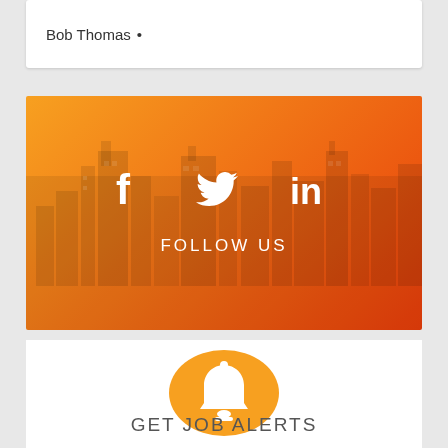Bob Thomas •
[Figure (infographic): Orange gradient banner with cityscape silhouette in background, social media icons (Facebook f, Twitter bird, LinkedIn in) and FOLLOW US text]
[Figure (illustration): Orange circle with white bell notification icon]
GET JOB ALERTS